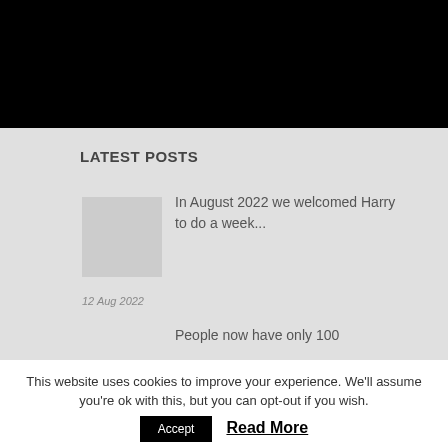[Figure (photo): Black header/banner area at top of page]
LATEST POSTS
[Figure (photo): Thumbnail image placeholder for post]
In August 2022 we welcomed Harry to do a week...
12 Aug 2022
People now have only 100
This website uses cookies to improve your experience. We'll assume you're ok with this, but you can opt-out if you wish.
Accept
Read More